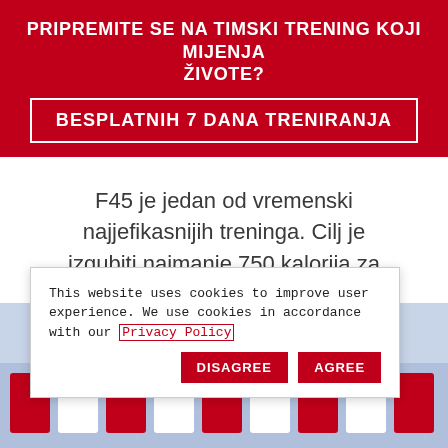PRIPREMITE SE NA TIMSKI TRENING KOJI MIJENJA ŽIVOTE?
BESPLATNIH 7 DANA TRENIRANJA
F45 je jedan od vremenski najjefikasnijih treninga. Cilj je izgubiti najmanje 750 kalorija za vrijeme 45-minutnog treninga.
[Figure (photo): Photo strip showing F45 training logo/branding at bottom of page]
This website uses cookies to improve user experience. We use cookies in accordance with our Privacy Policy
DISAGREE   AGREE